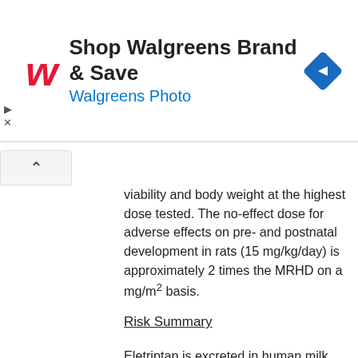[Figure (other): Walgreens advertisement banner: Walgreens logo (stylized W in red italic), text 'Shop Walgreens Brand & Save' and 'Walgreens Photo' in blue, and a blue diamond-shaped navigation icon on the right.]
viability and body weight at the highest dose tested. The no-effect dose for adverse effects on pre- and postnatal development in rats (15 mg/kg/day) is approximately 2 times the MRHD on a mg/m² basis.
Risk Summary
Eletriptan is excreted in human milk. There are no data on the effects of eletriptan on the breastfed infant or the effects of eletriptan on milk production.
The developmental and health benefits of breastfeeding should be considered along with the mother's clinical need for RELPAX and any potential adverse effects on the breastfed child from RELPAX or from the underlying maternal condition. Infant exposure can be minimized by